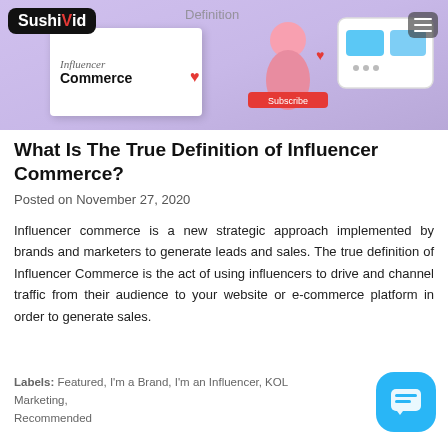[Figure (illustration): Blog header image with purple background showing 'Influencer Commerce' text on a white card and a shopping/social media illustration on the right. Sushivid logo and hamburger menu visible.]
What Is The True Definition of Influencer Commerce?
Posted on November 27, 2020
Influencer commerce is a new strategic approach implemented by brands and marketers to generate leads and sales. The true definition of Influencer Commerce is the act of using influencers to drive and channel traffic from their audience to your website or e-commerce platform in order to generate sales.
Labels: Featured, I'm a Brand, I'm an Influencer, KOL Marketing, Recommended